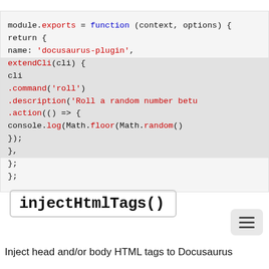[Figure (screenshot): Code block showing JavaScript module.exports plugin definition with extendCli method highlighted]
injectHtmlTags()
Inject head and/or body HTML tags to Docusaurus